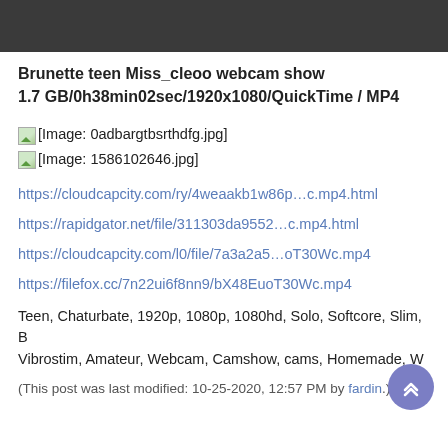Brunette teen Miss_cleoo webcam show
1.7 GB/0h38min02sec/1920x1080/QuickTime / MP4
[Figure (photo): Broken image placeholder for 0adbargtbsrthdfg.jpg]
[Figure (photo): Broken image placeholder for 1586102646.jpg]
https://cloudcapcity.com/ry/4weaakb1w86p...c.mp4.html
https://rapidgator.net/file/311303da9552...c.mp4.html
https://cloudcapcity.com/l0/file/7a3a2a5...oT30Wc.mp4
https://filefox.cc/7n22ui6f8nn9/bX48EuoT30Wc.mp4
Teen, Chaturbate, 1920p, 1080p, 1080hd, Solo, Softcore, Slim, B Vibrostim, Amateur, Webcam, Camshow, cams, Homemade, W
(This post was last modified: 10-25-2020, 12:57 PM by fardin.)